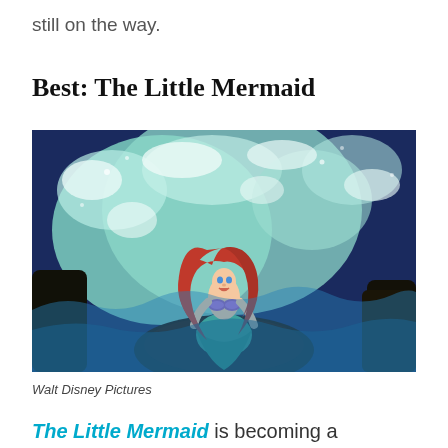still on the way.
Best: The Little Mermaid
[Figure (illustration): Animated scene from The Little Mermaid showing Ariel the mermaid with long red hair, wearing a purple shell bra top and green mermaid tail, sitting on a dark rock with ocean waves splashing behind her against a dark blue sky background. Walt Disney Pictures.]
Walt Disney Pictures
The Little Mermaid is becoming a